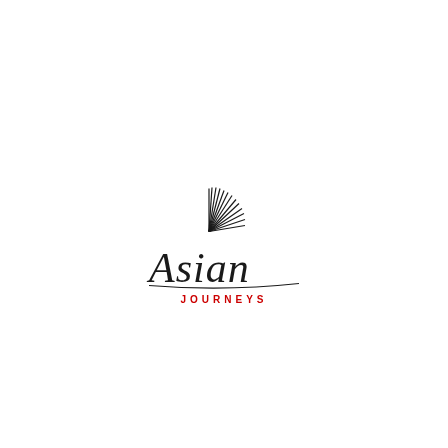[Figure (logo): Asian Journeys logo consisting of a black fan/sunburst icon above cursive 'Asian' text in black and 'JOURNEYS' in red capital letters below]